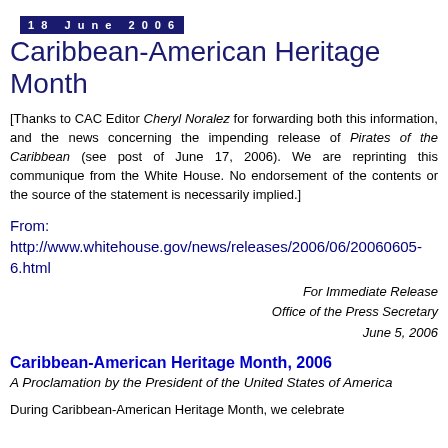18 June 2006
Caribbean-American Heritage Month
[Thanks to CAC Editor Cheryl Noralez for forwarding both this information, and the news concerning the impending release of Pirates of the Caribbean (see post of June 17, 2006). We are reprinting this communique from the White House. No endorsement of the contents or the source of the statement is necessarily implied.]
From:
http://www.whitehouse.gov/news/releases/2006/06/20060605-6.html
For Immediate Release
Office of the Press Secretary
June 5, 2006
Caribbean-American Heritage Month, 2006
A Proclamation by the President of the United States of America
During Caribbean-American Heritage Month, we celebrate